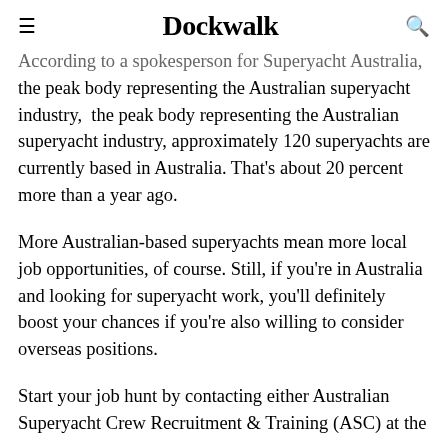≡  Dockwalk  🔍
According to a spokesperson for Superyacht Australia, the peak body representing the Australian superyacht industry,  the peak body representing the Australian superyacht industry, approximately 120 superyachts are currently based in Australia. That's about 20 percent more than a year ago.
More Australian-based superyachts mean more local job opportunities, of course. Still, if you're in Australia and looking for superyacht work, you'll definitely boost your chances if you're also willing to consider overseas positions.
Start your job hunt by contacting either Australian Superyacht Crew Recruitment & Training (ASC) at the